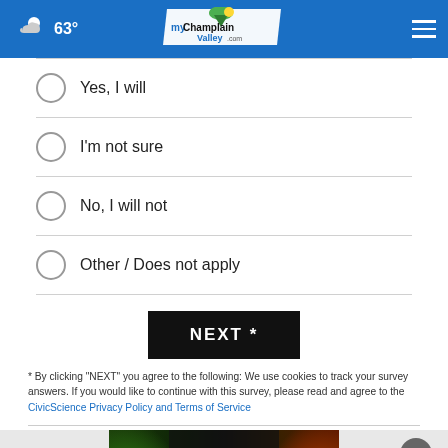63° myChamplainValley.com
Yes, I will
I'm not sure
No, I will not
Other / Does not apply
NEXT *
* By clicking "NEXT" you agree to the following: We use cookies to track your survey answers. If you would like to continue with this survey, please read and agree to the CivicScience Privacy Policy and Terms of Service
[Figure (photo): Advertisement banner with food/spice imagery — green vegetables on left, spices on right, dark background]